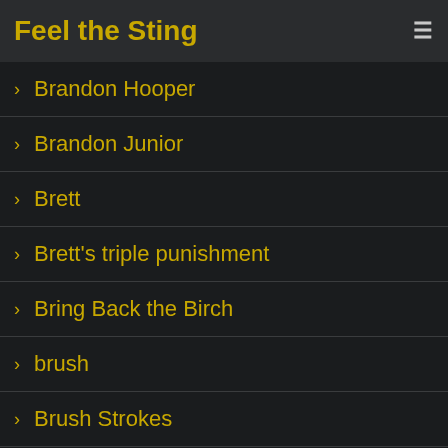Feel the Sting
> Brandon Hooper
> Brandon Junior
> Brett
> Brett's triple punishment
> Bring Back the Birch
> brush
> Brush Strokes
> Burned by Temptation
> cane
> caption quiz
> Carefree and Careless
> Careless Danger